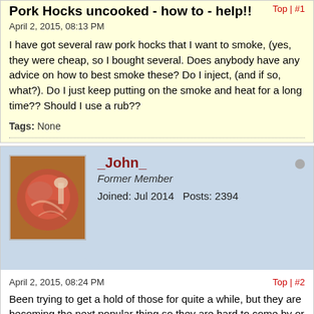Pork Hocks uncooked - how to - help!!
April 2, 2015, 08:13 PM
I have got several raw pork hocks that I want to smoke, (yes, they were cheap, so I bought several. Does anybody have any advice on how to best smoke these? Do I inject, (and if so, what?). Do I just keep putting on the smoke and heat for a long time?? Should I use a rub??
Tags: None
_John_
Former Member
Joined: Jul 2014   Posts: 2394
April 2, 2015, 08:24 PM
Been trying to get a hold of those for quite a while, but they are becoming the next popular thing so they are hard to come by or expensive around here. By expensive I mean they are like $5 a pound and as you know it is not all meat. That said, I haven't been able to get any to cook myself, but have eaten them at a